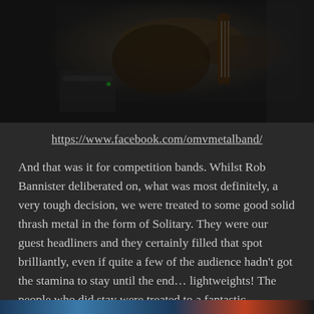[Figure (photo): Concert photo showing a guitarist on stage in dark lighting, with a watermark reading 'OP HOTOGRA EE' in the bottom right corner]
https://www.facebook.com/omvmetalband/
And that was it for competition bands. Whilst Rob Bannister deliberated on, what was most definitely, a very tough decision, we were treated to some good solid thrash metal in the form of Solitary. They were our guest headliners and they certainly filled that spot brilliantly, even if quite a few of the audience hadn't got the stamina to stay until the end… lightweights! The people who did stay were treated to a fantastic performance from them, with huge energy and passion and groove laden tunes back to back throughout their set.